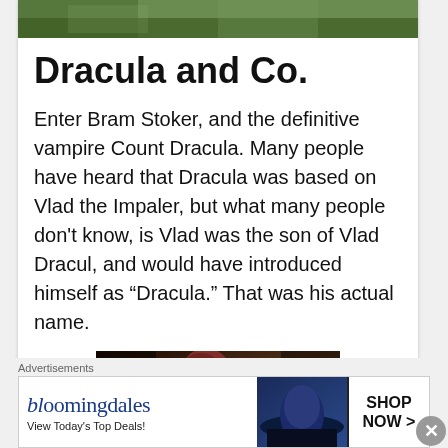[Figure (photo): Top portion of an image, appears to be green foliage or nature scene, partially cropped]
Dracula and Co.
Enter Bram Stoker, and the definitive vampire Count Dracula. Many people have heard that Dracula was based on Vlad the Impaler, but what many people don't know, is Vlad was the son of Vlad Dracul, and would have introduced himself as “Dracula.” That was his actual name.
[Figure (photo): Bottom portion of an image showing a figure in historical costume with red headpiece and ornate armor, partially cropped]
Advertisements
[Figure (screenshot): Bloomingdale's advertisement banner reading 'bloomingdales - View Today’s Top Deals!' with woman in blue hat and SHOP NOW > button]